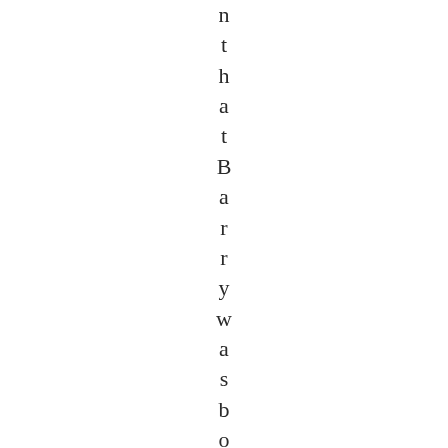n t h a t B a r r y w a s b o r n i n K e n y a a n